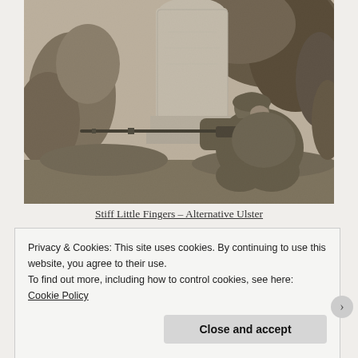[Figure (photo): Black and white photograph of a person in military/paramilitary gear crouching behind a stone grave marker or pillar, aiming a rifle. Vegetation and foliage visible in the background. Sepia-toned historical photograph.]
Stiff Little Fingers – Alternative Ulster
Privacy & Cookies: This site uses cookies. By continuing to use this website, you agree to their use.
To find out more, including how to control cookies, see here: Cookie Policy